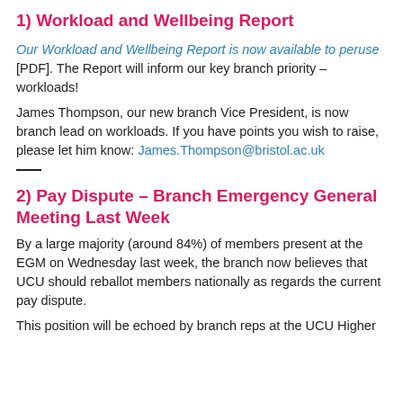1) Workload and Wellbeing Report
Our Workload and Wellbeing Report is now available to peruse [PDF]. The Report will inform our key branch priority – workloads!
James Thompson, our new branch Vice President, is now branch lead on workloads. If you have points you wish to raise, please let him know: James.Thompson@bristol.ac.uk
2) Pay Dispute – Branch Emergency General Meeting Last Week
By a large majority (around 84%) of members present at the EGM on Wednesday last week, the branch now believes that UCU should reballot members nationally as regards the current pay dispute.
This position will be echoed by branch reps at the UCU Higher